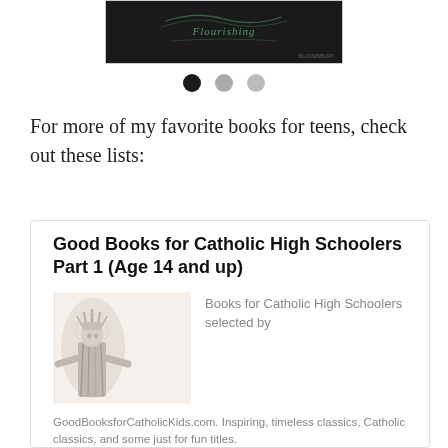[Figure (screenshot): Dark book cover image with cursive green text at top of page, partially visible]
[Figure (other): Three navigation dots: one black (active), two gray]
For more of my favorite books for teens, check out these lists:
[Figure (other): Card with title 'Good Books for Catholic High Schoolers Part 1 (Age 14 and up)', a black and white photo of a Catholic statue, and description text 'Books for Catholic High Schoolers selected by'. Footer text: 'GoodBooksforCatholicKids.com. Inspiring, timeless classics, Catholic classics, and some just for fun titles.']